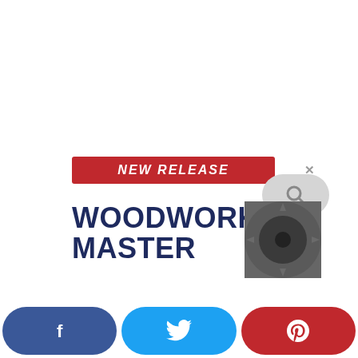[Figure (other): Advertisement banner for 'Woodworking Master' with red NEW RELEASE label, dark blue bold title text, a circular saw image on the right, and a close (x) button]
[Figure (infographic): Social media share bar at the bottom with three buttons: Facebook (dark blue with f icon), Twitter (light blue with bird icon), Pinterest (red with P icon)]